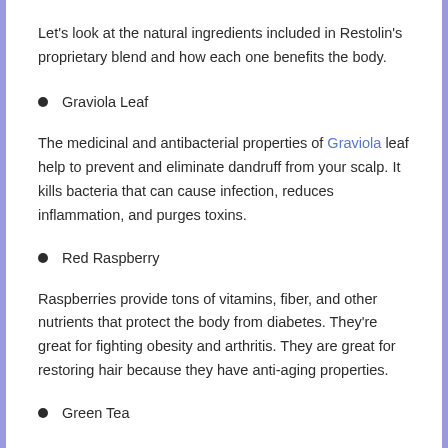Let's look at the natural ingredients included in Restolin's proprietary blend and how each one benefits the body.
Graviola Leaf
The medicinal and antibacterial properties of Graviola leaf help to prevent and eliminate dandruff from your scalp. It kills bacteria that can cause infection, reduces inflammation, and purges toxins.
Red Raspberry
Raspberries provide tons of vitamins, fiber, and other nutrients that protect the body from diabetes. They're great for fighting obesity and arthritis. They are great for restoring hair because they have anti-aging properties.
Green Tea